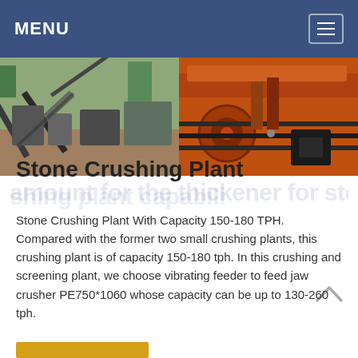MENU
[Figure (photo): Two side-by-side photos: left shows an outdoor stone crushing plant with conveyor belts and machinery; right shows close-up of orange industrial crushing/screening equipment.]
Stone Crushing Plant
Stone Crushing Plant With Capacity 150-180 TPH. Compared with the former two small crushing plants, this crushing plant is of capacity 150-180 tph. In this crushing and screening plant, we choose vibrating feeder to feed jaw crusher PE750*1060 whose capacity can be up to 130-260 tph.